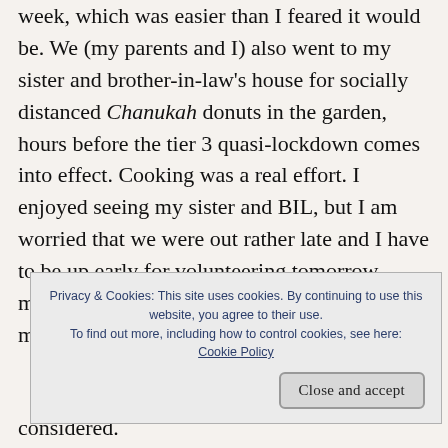week, which was easier than I feared it would be. We (my parents and I) also went to my sister and brother-in-law's house for socially distanced Chanukah donuts in the garden, hours before the tier 3 quasi-lockdown comes into effect. Cooking was a real effort. I enjoyed seeing my sister and BIL, but I am worried that we were out rather late and I have to be up early for volunteering tomorrow morning. I don't want to oversleep, as I've missed the last two w...
Privacy & Cookies: This site uses cookies. By continuing to use this website, you agree to their use. To find out more, including how to control cookies, see here: Cookie Policy
considered.